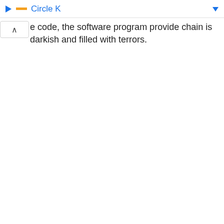Circle K
e code, the software program provide chain is darkish and filled with terrors.